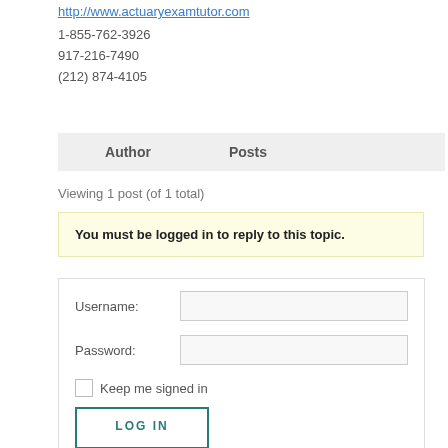http://www.actuaryexamtutor.com
1-855-762-3926
917-216-7490
(212) 874-4105
| Author | Posts |
| --- | --- |
Viewing 1 post (of 1 total)
You must be logged in to reply to this topic.
Username:
Password:
Keep me signed in
LOG IN